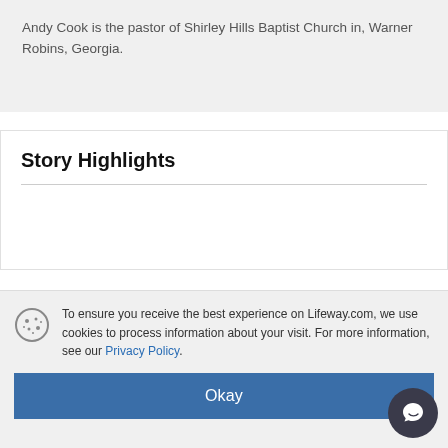Andy Cook is the pastor of Shirley Hills Baptist Church in, Warner Robins, Georgia.
Story Highlights
Related Content
To ensure you receive the best experience on Lifeway.com, we use cookies to process information about your visit. For more information, see our Privacy Policy.
Okay